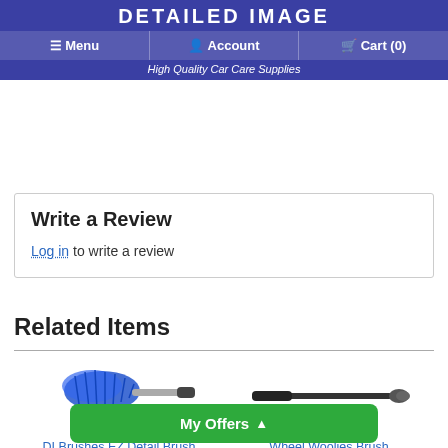DETAILED IMAGE | Menu | Account | Cart (0) | High Quality Car Care Supplies
spend the $43 anyways. Wheel Woolies is my solution. I beat myself for not getting on the bandwagon sooner. I hunted down Wheel Woolies and they are long lasting, which is all I will find. I now have various sizes for the different uses. They are a 10 out of 10! You get what you pay for with Wheel Woolies.
Write a Review
Log in to write a review
Related Items
[Figure (photo): DI Brushes EZ Detail Brush - blue bristle detail brush with handle]
DI Brushes EZ Detail Brush
[Figure (photo): Wheel Woolies Brush - long handled black brush]
Wheel Woolies Brush
My Offers ^